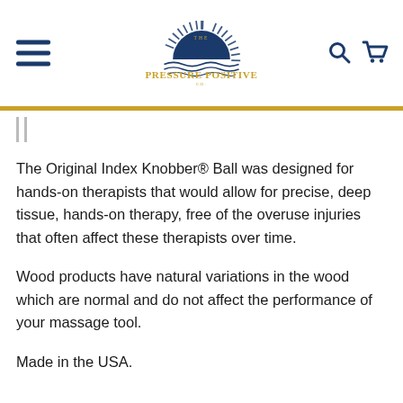[Figure (logo): The Pressure Positive Co. logo with sunburst and wave design in navy blue and gold]
The Original Index Knobber® Ball was designed for hands-on therapists that would allow for precise, deep tissue, hands-on therapy, free of the overuse injuries that often affect these therapists over time.
Wood products have natural variations in the wood which are normal and do not affect the performance of your massage tool.
Made in the USA.